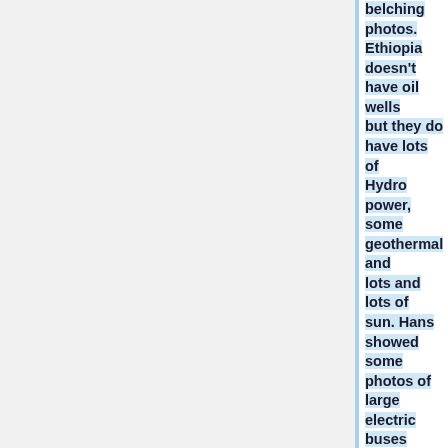belching photos. Ethiopia doesn't have oil wells but they do have lots of Hydro power, some geothermal and lots and lots of sun. Hans showed some photos of large electric buses which are being tested and soon to be built in Ethiopia. Hans is working with the local government and business people to set up